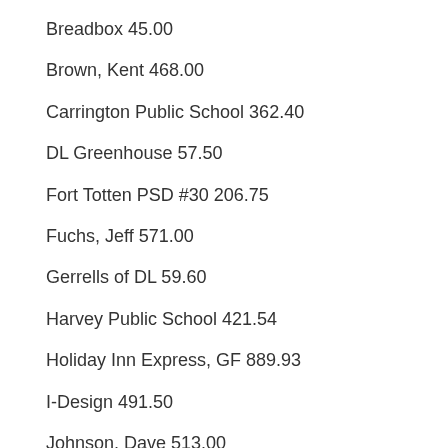Breadbox 45.00
Brown, Kent 468.00
Carrington Public School 362.40
DL Greenhouse 57.50
Fort Totten PSD #30 206.75
Fuchs, Jeff 571.00
Gerrells of DL 59.60
Harvey Public School 421.54
Holiday Inn Express, GF 889.93
I-Design 491.50
Johnson, Dave 513.00
JS Wholesale 1,124.73
Klier, Dean 591.00
Lakeview Dairy 1,437.60
Lakota Public School 353.95